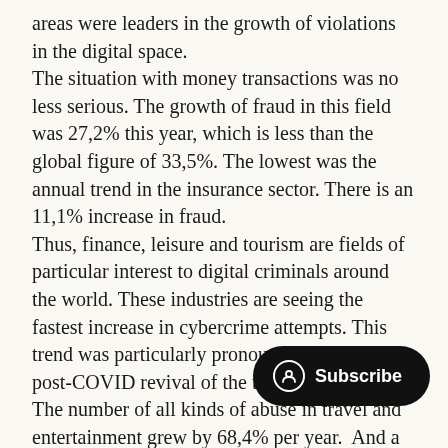areas were leaders in the growth of violations in the digital space. The situation with money transactions was no less serious. The growth of fraud in this field was 27,2% this year, which is less than the global figure of 33,5%. The lowest was the annual trend in the insurance sector. There is an 11,1% increase in fraud. Thus, finance, leisure and tourism are fields of particular interest to digital criminals around the world. These industries are seeing the fastest increase in cybercrime attempts. This trend was particularly pronounced during the post-COVID revival of the tourism industry. The number of all kinds of abuse in travel and entertainment grew by 68,4% per year. And a significant part of them was credit often, fraudsters used counterfeit make purchases or fictitious payments.